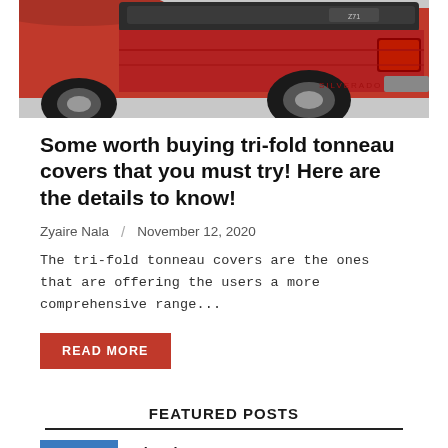[Figure (photo): Red pickup truck with a tonneau cover, showing the rear quarter panel and bed, photographed from a side-rear angle.]
Some worth buying tri-fold tonneau covers that you must try! Here are the details to know!
Zyaire Nala  /  November 12, 2020
The tri-fold tonneau covers are the ones that are offering the users a more comprehensive range...
READ MORE
FEATURED POSTS
[Figure (photo): Small thumbnail image with blue tones, partially visible at the bottom of the page.]
Why The Tonneau Mu...